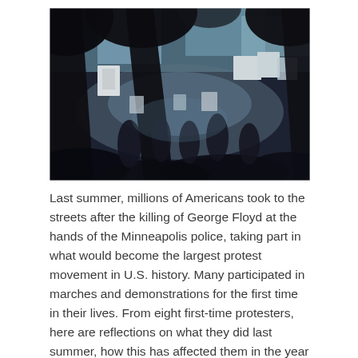[Figure (photo): Aerial/crowd-level photograph of a large protest march under tree canopy. Dense crowd of people, many wearing masks, holding signs including BLM-related placards. Dark silhouettes of trees in foreground against a bright sky. Appears to be a daytime summer protest.]
Last summer, millions of Americans took to the streets after the killing of George Floyd at the hands of the Minneapolis police, taking part in what would become the largest protest movement in U.S. history. Many participated in marches and demonstrations for the first time in their lives. From eight first-time protesters, here are reflections on what they did last summer, how this has affected them in the year since and what lies ahead. Their